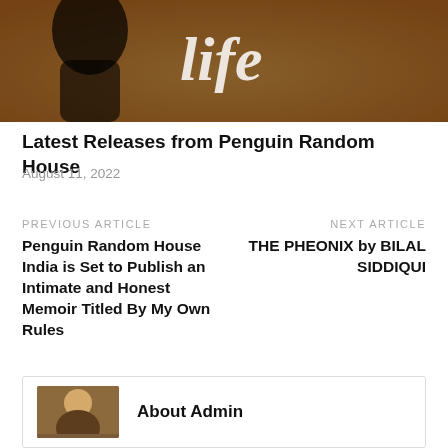[Figure (photo): Top portion of a book cover or promotional image with a dark silhouette and cursive text against an orange/warm background]
Latest Releases from Penguin Random House
August 11, 2022
PREVIOUS ARTICLE
Penguin Random House India is Set to Publish an Intimate and Honest Memoir Titled By My Own Rules
NEXT ARTICLE
THE PHEONIX by BILAL SIDDIQUI
About Admin